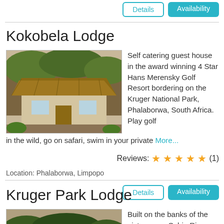[Figure (other): Details and Availability buttons at top]
Kokobela Lodge
[Figure (photo): Photo of Kokobela Lodge – a thatched bush lodge building surrounded by trees]
Self catering guest house in the award winning 4 Star Hans Merensky Golf Resort bordering on the Kruger National Park, Phalaborwa, South Africa. Play golf in the wild, go on safari, swim in your private More...
Reviews: ★★★★★ (1)
Location: Phalaborwa, Limpopo
[Figure (other): Details and Availability buttons]
Kruger Park Lodge
[Figure (photo): Photo of Kruger Park Lodge – thatched lodge building with wildlife in foreground]
Built on the banks of the picturesque Sabie River and surrounded by indigenous gardens, abundant with bird